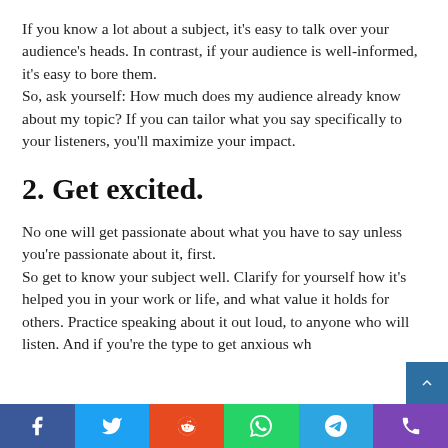If you know a lot about a subject, it's easy to talk over your audience's heads. In contrast, if your audience is well-informed, it's easy to bore them.
So, ask yourself: How much does my audience already know about my topic? If you can tailor what you say specifically to your listeners, you'll maximize your impact.
2. Get excited.
No one will get passionate about what you have to say unless you're passionate about it, first.
So get to know your subject well. Clarify for yourself how it's helped you in your work or life, and what value it holds for others. Practice speaking about it out loud, to anyone who will listen. And if you're the type to get anxious wh